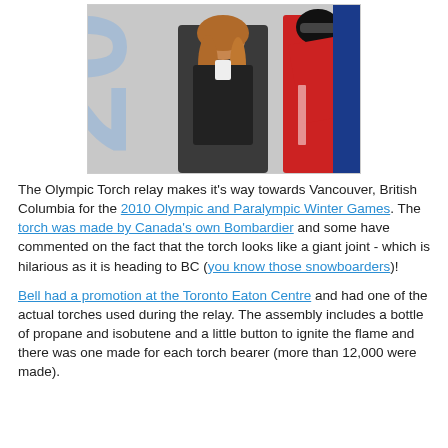[Figure (photo): Photo of a woman with long blonde-brown hair in a dark jacket standing next to a life-size cutout or display of a speed skater in a red suit, in front of a wall with '2010' branding.]
The Olympic Torch relay makes it's way towards Vancouver, British Columbia for the 2010 Olympic and Paralympic Winter Games. The torch was made by Canada's own Bombardier and some have commented on the fact that the torch looks like a giant joint - which is hilarious as it is heading to BC (you know those snowboarders)!
Bell had a promotion at the Toronto Eaton Centre and had one of the actual torches used during the relay. The assembly includes a bottle of propane and isobutene and a little button to ignite the flame and there was one made for each torch bearer (more than 12,000 were made).